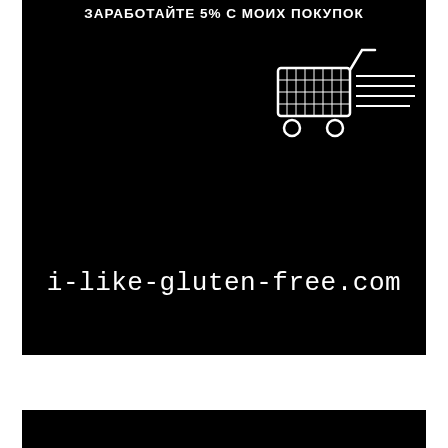[Figure (illustration): Black background promotional banner with shopping cart icon and text. Top text reads ЗАРАБОТАЙТЕ 5% С МОИХ ПОКУПОК in white uppercase. A shopping cart icon with speed lines is shown in upper right area. Website URL i-like-gluten-free.com displayed in large white monospace font in lower portion.]
ЗАРАБОТАЙТЕ 5% С МОИХ ПОКУПОК
i-like-gluten-free.com